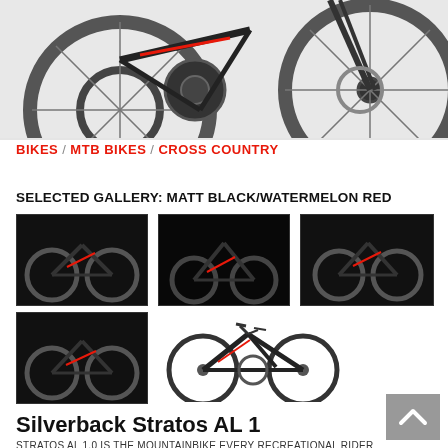[Figure (photo): Top hero image of a Silverback Stratos mountain bike, showing rear and front wheel detail on white/light grey background]
BIKES / MTB BIKES / CROSS COUNTRY
SELECTED GALLERY: MATT BLACK/WATERMELON RED
[Figure (photo): Thumbnail photo of Silverback Stratos bike, side view on dark background]
[Figure (photo): Thumbnail photo of Silverback Stratos bike, rear three-quarter view on dark background]
[Figure (photo): Thumbnail photo of Silverback Stratos bike, front three-quarter view on dark background]
[Figure (photo): Thumbnail photo of Silverback Stratos bike, side view on dark background]
[Figure (photo): Silverback Stratos bike line drawing / white background product shot]
Silverback Stratos AL 1
STRATOS AL 1.0 IS THE MOUNTAINBIKE EVERY RECREATIONAL RIDER CAN